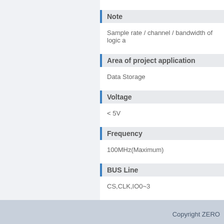Note
Sample rate / channel / bandwidth of logic a
Area of project application
Data Storage
Voltage
< 5V
Frequency
100MHz(Maximum)
BUS Line
CS,CLK,IO0~3
Copyright ZERO